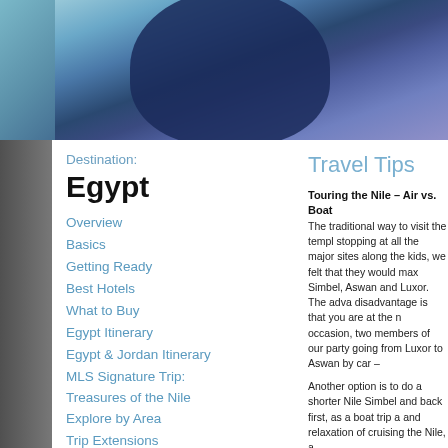[Figure (photo): Top photo strip showing a person in blue clothing against a teal/blue background]
Destination:
Egypt
Overview
Basics
Getting Ready
Best Hotels
What to Buy
Egypt Itinerary
Egypt & Jordan Itinerary
MLS Signature Trip: Treasures of the Nile
Explore by Area
Trip Extensions
Travel Tips
Contacts
Travel Tips
Touring the Nile – Air vs. Boat
The traditional way to visit the temples stopping at all the major sites along the kids, we felt that they would max Simbel, Aswan and Luxor. The adva disadvantage is that you are at the n occasion, two members of our party going from Luxor to Aswan by car –
Another option is to do a shorter Nile Simbel and back first, as a boat trip and relaxation of cruising the Nile, a
Tombs of the Nobles
Our guide brought us to this little-kno crowds mean the tombs are well pre
Horseback Riding in Cairo
Riding out to the pyramids on horsel part of Cairo – dirty and unsafe, espe area to get out to the pyramids. We